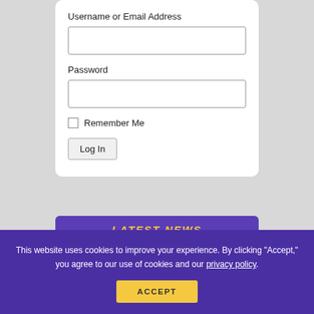Username or Email Address
Password
Remember Me
Log In
LATEST NEWS
Carlos Arias: Getting Stronger Daily
State Stat Stars of the Week
This website uses cookies to improve your experience. By clicking "Accept," you agree to our use of cookies and our privacy policy.
ACCEPT